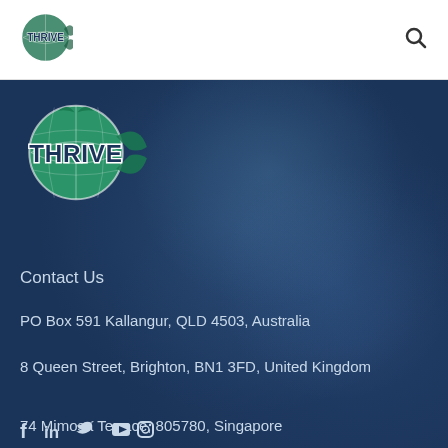THRIVE logo and search icon
[Figure (logo): Thrive logo - large circular fish/globe icon with THRIVE text in dark blue]
Contact Us
PO Box 591 Kallangur, QLD 4503, Australia
8 Queen Street, Brighton, BN1 3FD, United Kingdom
74 Mimosa Terrace, 805780, Singapore
[Figure (infographic): Social media icons row: Facebook, LinkedIn, Twitter, YouTube, Instagram]